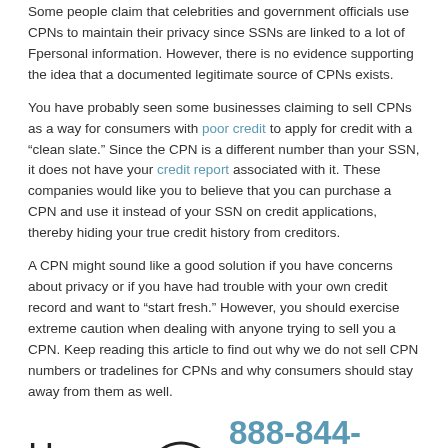Some people claim that celebrities and government officials use CPNs to maintain their privacy since SSNs are linked to a lot of Fpersonal information. However, there is no evidence supporting the idea that a documented legitimate source of CPNs exists.
You have probably seen some businesses claiming to sell CPNs as a way for consumers with poor credit to apply for credit with a “clean slate.” Since the CPN is a different number than your SSN, it does not have your credit report associated with it. These companies would like you to believe that you can purchase a CPN and use it instead of your SSN on credit applications, thereby hiding your true credit history from creditors.
A CPN might sound like a good solution if you have concerns about privacy or if you have had trouble with your own credit record and want to “start fresh.” However, you should exercise extreme caution when dealing with anyone trying to sell you a CPN. Keep reading this article to find out why we do not sell CPN numbers or tradelines for CPNs and why consumers should stay away from them as well.
[Figure (infographic): Phone contact section with 'How Do' text, a circular phone icon, the number 888-844-8910 in blue, and business hours listed in italic text.]
The Claims About CPNs